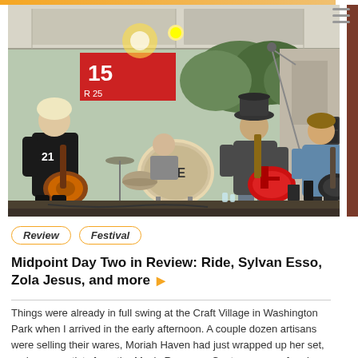[Figure (photo): Concert photo showing musicians performing on an outdoor stage. Left: guitarist in black shirt with number jersey playing brown guitar. Center: guitarist in hat playing red electric guitar. Right: bassist in blue shirt. Drum kit visible in background with 'RIDE' branding on bass drum.]
Review
Festival
Midpoint Day Two in Review: Ride, Sylvan Esso, Zola Jesus, and more ▶
Things were already in full swing at the Craft Village in Washington Park when I arrived in the early afternoon. A couple dozen artisans were selling their wares, Moriah Haven had just wrapped up her set, and young artists from the Music Resource Center were performing their own compositions....
Nat Tracey-Miller
Monday, September 28, 2015, 6:04am